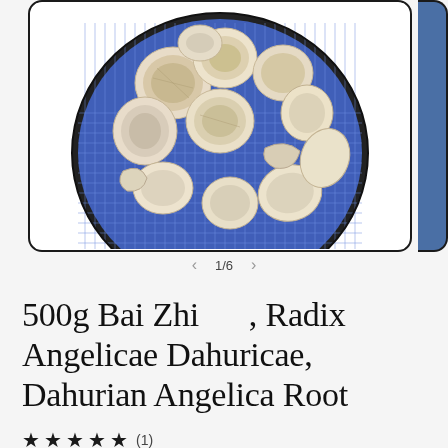[Figure (photo): Product photo of dried Bai Zhi (Angelica root) slices arranged on a blue and white patterned circular plate, shown from above on white background. A partial second image is visible on the right edge.]
1/6
500g Bai Zhi 白芒, Radix Angelicae Dahuricae, Dahurian Angelica Root
★ ★ ★ ★ ★ (1)